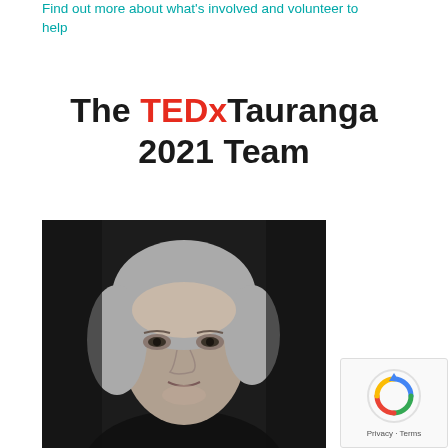Find out more about what's involved and volunteer to help
The TEDxTauranga 2021 Team
[Figure (photo): Black and white portrait photo of a woman with curly light hair, looking at the camera, wearing dark clothing]
Licensee & Co-Organiser
[Figure (other): reCAPTCHA widget showing Privacy - Terms]